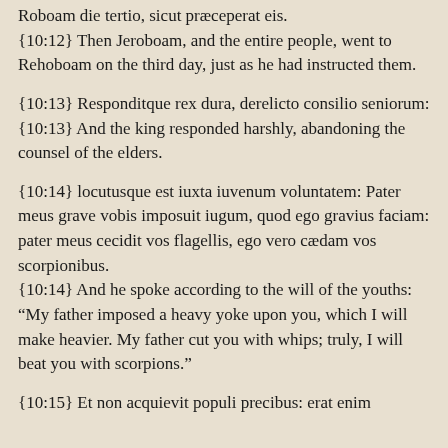Roboam die tertio, sicut præceperat eis.
{10:12} Then Jeroboam, and the entire people, went to Rehoboam on the third day, just as he had instructed them.
{10:13} Responditque rex dura, derelicto consilio seniorum:
{10:13} And the king responded harshly, abandoning the counsel of the elders.
{10:14} locutusque est iuxta iuvenum voluntatem: Pater meus grave vobis imposuit iugum, quod ego gravius faciam: pater meus cecidit vos flagellis, ego vero cædam vos scorpionibus.
{10:14} And he spoke according to the will of the youths: “My father imposed a heavy yoke upon you, which I will make heavier. My father cut you with whips; truly, I will beat you with scorpions.”
{10:15} Et non acquievit populi precibus: erat enim